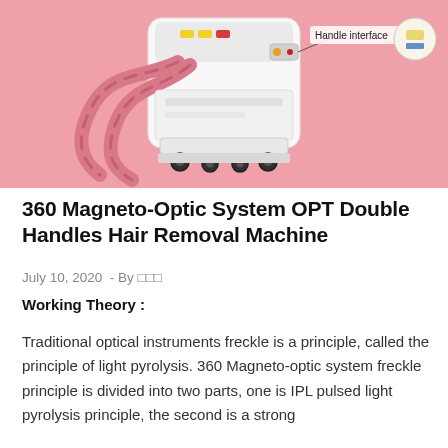[Figure (photo): Photo of a 360 Magneto-Optic System OPT Double Handles Hair Removal Machine — a white and pink medical aesthetic device on wheels with two pink hoses attached, shown against a pink background. A callout label reads 'Handle interface' pointing to the top of the machine.]
360 Magneto-Optic System OPT Double Handles Hair Removal Machine
July 10, 2020  - By □□□
Working Theory :
Traditional optical instruments freckle is a principle, called the principle of light pyrolysis. 360 Magneto-optic system freckle principle is divided into two parts, one is IPL pulsed light pyrolysis principle, the second is a strong